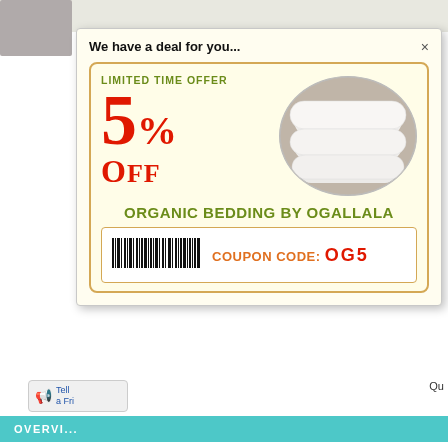[Figure (screenshot): E-commerce product page screenshot showing a popup coupon modal for Organic Bedding by Ogallala with 5% OFF limited time offer and coupon code OG5, overlaid on a product page with pillow images and overview section.]
We have a deal for you...
LIMITED TIME OFFER
5% OFF
ORGANIC BEDDING BY OGALLALA
COUPON CODE: OG5
OVERVIEW
Hypodown 700-fill
80-percent white goose down and 20-percent Syriaca clusters
Hypodown is hypoallergenic, natural, biodegradable, renewable,
Hypodown protects monarch butterfly habitat
383-thread count cotton sateen
Medium
RDS (Responsible Down Standard) certified down
Oeko-Tex Standard 100 certified products